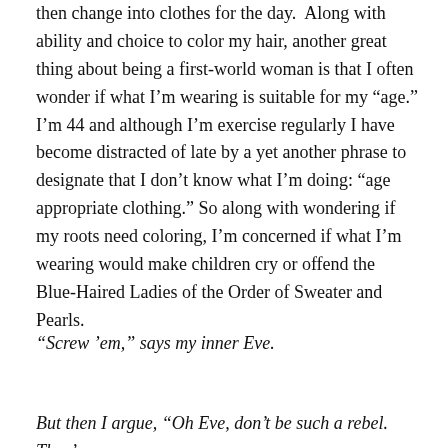then change into clothes for the day.  Along with ability and choice to color my hair, another great thing about being a first-world woman is that I often wonder if what I’m wearing is suitable for my “age.” I’m 44 and although I’m exercise regularly I have become distracted of late by a yet another phrase to designate that I don’t know what I’m doing: “age appropriate clothing.” So along with wondering if my roots need coloring, I’m concerned if what I’m wearing would make children cry or offend the Blue-Haired Ladies of the Order of Sweater and Pearls.
“Screw ’em,” says my inner Eve.
But then I argue, “Oh Eve, don’t be such a rebel.  They’re